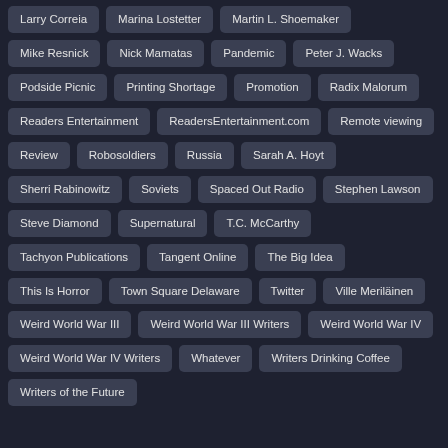Larry Correia
Marina Lostetter
Martin L. Shoemaker
Mike Resnick
Nick Mamatas
Pandemic
Peter J. Wacks
Podside Picnic
Printing Shortage
Promotion
Radix Malorum
Readers Entertainment
ReadersEntertainment.com
Remote viewing
Review
Robosoldiers
Russia
Sarah A. Hoyt
Sherri Rabinowitz
Soviets
Spaced Out Radio
Stephen Lawson
Steve Diamond
Supernatural
T.C. McCarthy
Tachyon Publications
Tangent Online
The Big Idea
This Is Horror
Town Square Delaware
Twitter
Ville Meriläinen
Weird World War III
Weird World War III Writers
Weird World War IV
Weird World War IV Writers
Whatever
Writers Drinking Coffee
Writers of the Future